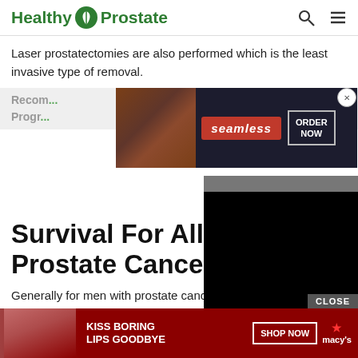Healthy Prostate
Laser prostatectomies are also performed which is the least invasive type of removal.
[Figure (screenshot): Advertisement banner for Seamless food delivery with pizza image, red Seamless logo, and ORDER NOW button]
Recom... Progr...
Survival For All St... Prostate Cancer
[Figure (screenshot): Black video overlay popup with gray bar above it]
Generally for men with prostate cancer in England:
more than 95 out of 100 will survive their cancer for 1 yea...
[Figure (screenshot): Macy's advertisement banner: KISS BORING LIPS GOODBYE with SHOP NOW button and Macy's star logo]